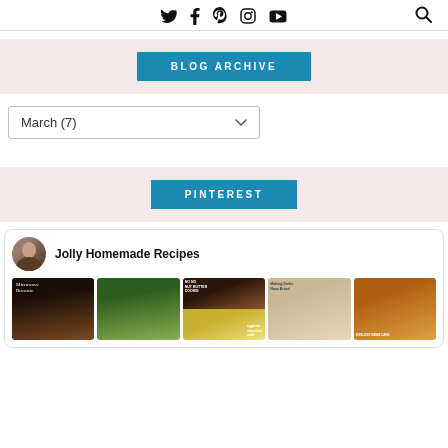Social media icons: Twitter, Facebook, Pinterest, Instagram, YouTube, Search
BLOG ARCHIVE
March (7)
PINTEREST
[Figure (screenshot): Pinterest widget showing Jolly Homemade Recipes profile with grid of food pin images including brownies, vegetables, chocolate cake, bread, and mawa cake]